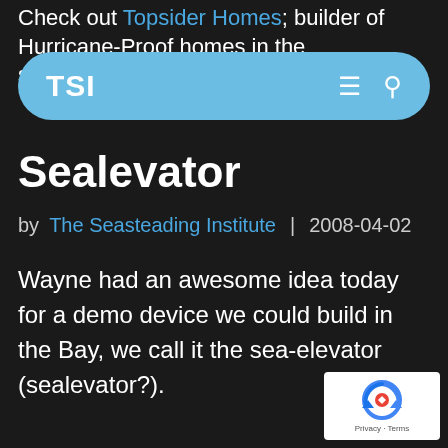Check out Topsider Homes, builder of Hurricane-Proof homes in the southeastern
[Figure (screenshot): Navigation bar with light blue pill/rounded-rectangle shape containing 'TSI' brand text on left, hamburger menu icon and search icon on right]
Sealevator
by The Seasteading Institute | 2008-04-02
Wayne had an awesome idea today for a demo device we could build in the Bay, we call it the sea-elevator (sealevator?).
[Figure (logo): Google reCAPTCHA badge in bottom right corner, white background with reCAPTCHA logo and 'Privacy · Terms' text]